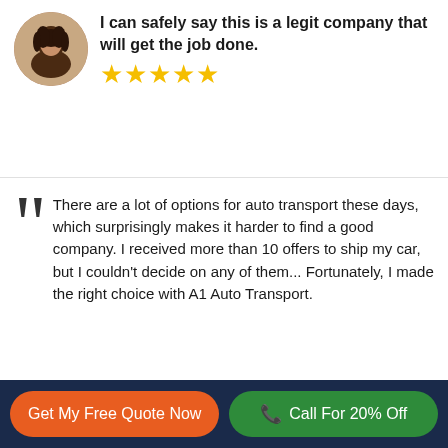I can safely say this is a legit company that will get the job done. ★★★★★
There are a lot of options for auto transport these days, which surprisingly makes it harder to find a good company. I received more than 10 offers to ship my car, but I couldn't decide on any of them... Fortunately, I made the right choice with A1 Auto Transport.
David Osallo
We give A1 Auto Transport a big 10 out of 10!
★★★★★
Get My Free Quote Now
Call For 20% Off